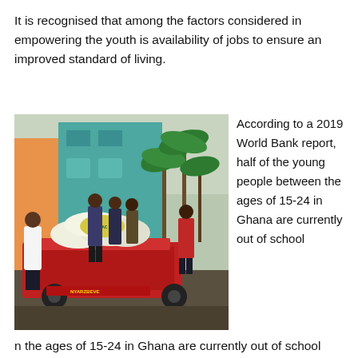It is recognised that among the factors considered in empowering the youth is availability of jobs to ensure an improved standard of living.
[Figure (photo): People loading heavy sacks of goods onto a red cargo tricycle/trike in front of a teal/orange building with palm trees in the background. Several people in casual clothes are visible, including one in a white t-shirt and one in a red shirt.]
According to a 2019 World Bank report, half of the young people between the ages of 15-24 in Ghana are currently out of school with 27 percent unemployed. But it noted that the
n the ages of 15-24 in Ghana are currently out of school with 27 percent unemployed. But it noted that the